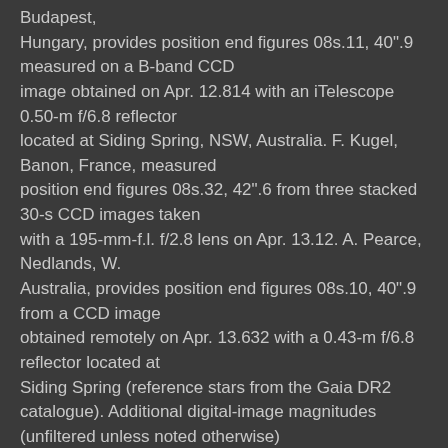Budapest, Hungary, provides position end figures 08s.11, 40".9 measured on a B-band CCD image obtained on Apr. 12.814 with an iTelescope 0.50-m f/6.8 reflector located at Siding Spring, NSW, Australia. F. Kugel, Banon, France, measured position end figures 08s.32, 42".6 from three stacked 30-s CCD images taken with a 195-mm-f.l. f/2.8 lens on Apr. 13.12. A. Pearce, Nedlands, W. Australia, provides position end figures 08s.10, 40".9 from a CCD image obtained remotely on Apr. 13.632 with a 0.43-m f/6.8 reflector located at Siding Spring (reference stars from the Gaia DR2 catalogue). Additional digital-image magnitudes (unfiltered unless noted otherwise) that have been reported for PNV J17091000-3730500: Apr. 11.395 UT, [16.8 (All-Sky Automated Survey for Supernovae; communicated by R. Schmeer,